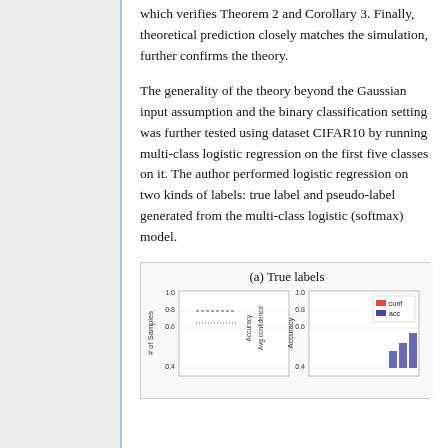which verifies Theorem 2 and Corollary 3. Finally, theoretical prediction closely matches the simulation, further confirms the theory.
The generality of the theory beyond the Gaussian input assumption and the binary classification setting was further tested using dataset CIFAR10 by running multi-class logistic regression on the first five classes on it. The author performed logistic regression on two kinds of labels: true label and pseudo-label generated from the multi-class logistic (softmax) model.
[Figure (continuous-plot): Subplot (a) True labels: two side-by-side plots showing accuracy and average confidence vs number of samples; y-axis from 0.4 to 1.0. Left plot shows distribution of samples. Right plot shows legend with 'conf' (red) and 'acc' (blue) lines, with a histogram bar visible at bottom right.]